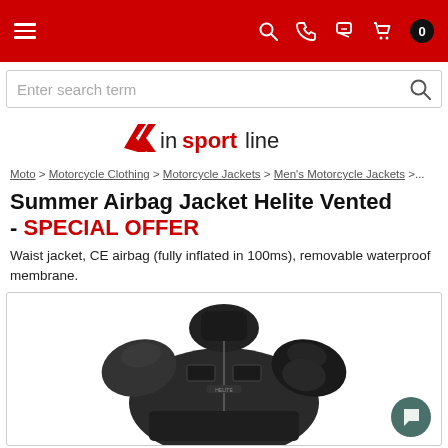insportline navigation bar with hamburger menu, search, phone, account, cart icons
Enter search term
[Figure (logo): inSPORTline logo with red chevron/flag icon and text 'insportline' where 'sport' is bold red]
Moto > Motorcycle Clothing > Motorcycle Jackets > Men's Motorcycle Jackets >...
Summer Airbag Jacket Helite Vented - SPECIAL OFFER
Waist jacket, CE airbag (fully inflated in 100ms), removable waterproof membrane.
[Figure (photo): Black motorcycle jacket (Helite Vented airbag jacket) shown against white background, with structured collar, shoulder armor, chest pockets, and reflective strips near waist.]